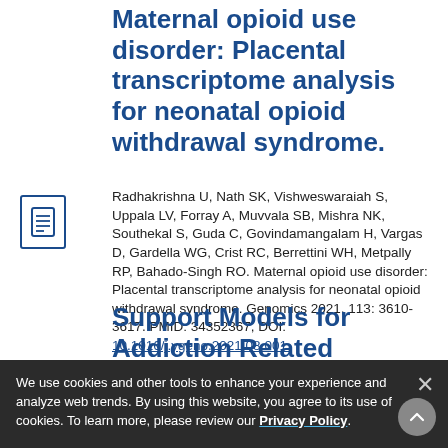Maternal opioid use disorder: Placental transcriptome analysis for neonatal opioid withdrawal syndrome.
Radhakrishna U, Nath SK, Vishweswaraiah S, Uppala LV, Forray A, Muvvala SB, Mishra NK, Southekal S, Guda C, Govindamangalam H, Vargas D, Gardella WG, Crist RC, Berrettini WH, Metpally RP, Bahado-Singh RO. Maternal opioid use disorder: Placental transcriptome analysis for neonatal opioid withdrawal syndrome. Genomics 2021, 113: 3610-3617. PMID: 34352367, DOI: 10.1016/j.ygeno.2021.08.001.
We use cookies and other tools to enhance your experience and analyze web trends. By using this website, you agree to its use of cookies. To learn more, please review our Privacy Policy.
Support Models for Addiction Related Treatment (SMART) for pregnant women: Study protocol